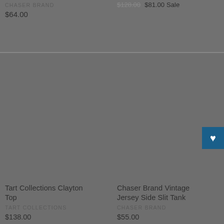CHASER BRAND
$64.00
$128.00  $81.00 Sale
[Figure (photo): Product image placeholder - grey rectangle for Tart Collections Clayton Top]
Tart Collections Clayton Top
TART COLLECTIONS
$138.00
[Figure (photo): Product image placeholder - grey rectangle for Chaser Brand Vintage Jersey Side Slit Tank]
Chaser Brand Vintage Jersey Side Slit Tank
CHASER BRAND
$55.00